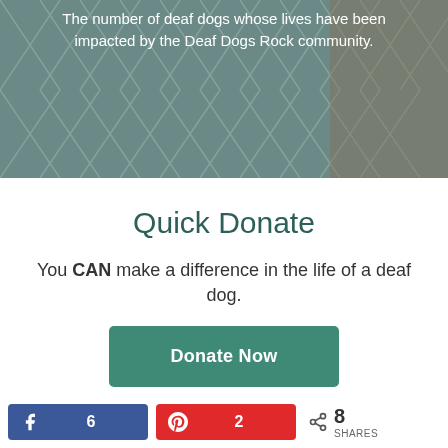[Figure (photo): Background photo of chain-link fence with dogs behind it, overlaid with white text about deaf dogs statistics.]
The number of deaf dogs whose lives have been impacted by the Deaf Dogs Rock community.
Quick Donate
You CAN make a difference in the life of a deaf dog.
Donate Now
6  2  8 SHARES